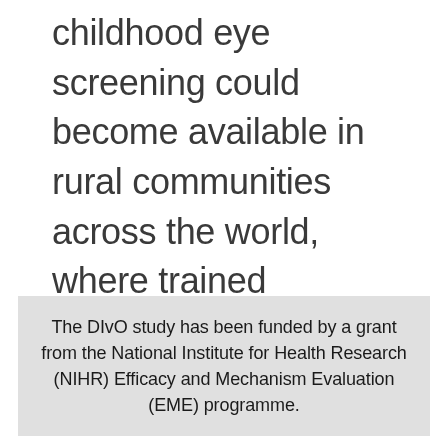childhood eye screening could become available in rural communities across the world, where trained healthcare staff are often not available.
The DIvO study has been funded by a grant from the National Institute for Health Research (NIHR) Efficacy and Mechanism Evaluation (EME) programme.